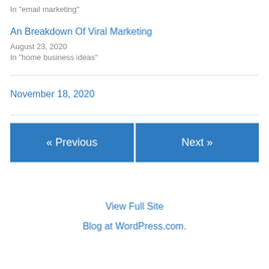In "email marketing"
An Breakdown Of Viral Marketing
August 23, 2020
In "home business ideas"
November 18, 2020
« Previous
Next »
View Full Site
Blog at WordPress.com.